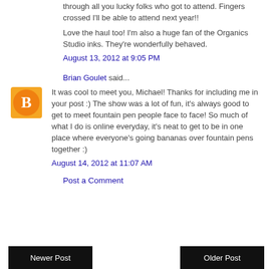through all you lucky folks who got to attend. Fingers crossed I'll be able to attend next year!!
Love the haul too! I'm also a huge fan of the Organics Studio inks. They're wonderfully behaved.
August 13, 2012 at 9:05 PM
Brian Goulet said...
It was cool to meet you, Michael! Thanks for including me in your post :) The show was a lot of fun, it's always good to get to meet fountain pen people face to face! So much of what I do is online everyday, it's neat to get to be in one place where everyone's going bananas over fountain pens together :)
August 14, 2012 at 11:07 AM
Post a Comment
Newer Post | Older Post